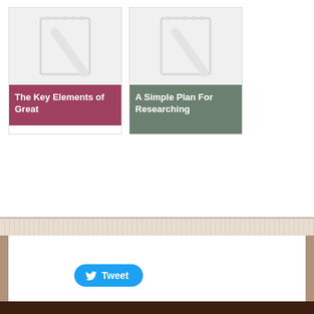[Figure (illustration): Card with notebook placeholder icon and rose/pink label reading 'The Key Elements of Great']
[Figure (illustration): Card with notebook placeholder icon and sage/green label reading 'A Simple Plan For Researching']
[Figure (logo): Twitter Tweet button with bird icon, blue rounded rectangle]
Copyright © 2022 GIR - Education
Designed by http://www.r4isdhc-3ds.fr, thanks to: o2 signal boosters online, http://www.r43dsofficiels.com/categories/Nintendo-2DS/ and r4i gold 3ds